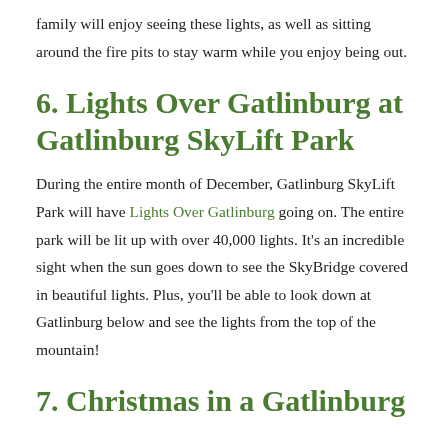family will enjoy seeing these lights, as well as sitting around the fire pits to stay warm while you enjoy being out.
6. Lights Over Gatlinburg at Gatlinburg SkyLift Park
During the entire month of December, Gatlinburg SkyLift Park will have Lights Over Gatlinburg going on. The entire park will be lit up with over 40,000 lights. It's an incredible sight when the sun goes down to see the SkyBridge covered in beautiful lights. Plus, you'll be able to look down at Gatlinburg below and see the lights from the top of the mountain!
7. Christmas in a Gatlinburg